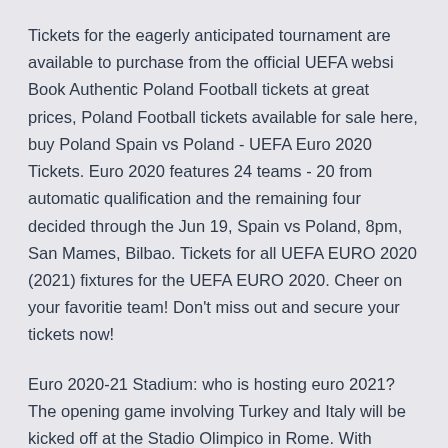Tickets for the eagerly anticipated tournament are available to purchase from the official UEFA websi Book Authentic Poland Football tickets at great prices, Poland Football tickets available for sale here, buy Poland Spain vs Poland - UEFA Euro 2020 Tickets. Euro 2020 features 24 teams - 20 from automatic qualification and the remaining four decided through the Jun 19, Spain vs Poland, 8pm, San Mames, Bilbao. Tickets for all UEFA EURO 2020 (2021) fixtures for the UEFA EURO 2020. Cheer on your favoritie team! Don't miss out and secure your tickets now!
Euro 2020-21 Stadium: who is hosting euro 2021? The opening game involving Turkey and Italy will be kicked off at the Stadio Olimpico in Rome. With Portugal as the defending champions.